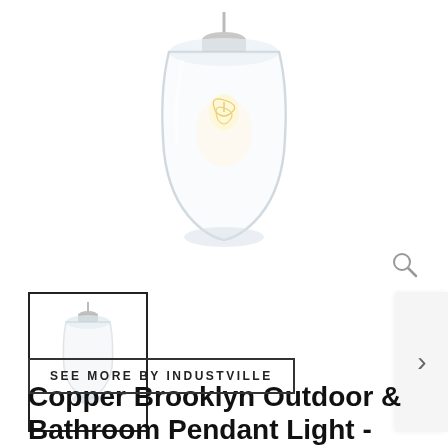[Figure (photo): A clear glass pendant light with a visible filament bulb inside, photographed on white background. The glass shade is cylindrical/rounded with a silver metal fitting at the top.]
[Figure (photo): Thumbnail image of the same Copper Brooklyn pendant light showing the full pendant including cord/cable, small thumbnail with black border.]
SEE MORE BY INDUSTVILLE
Copper Brooklyn Outdoor & Bathroom Pendant Light - Industville